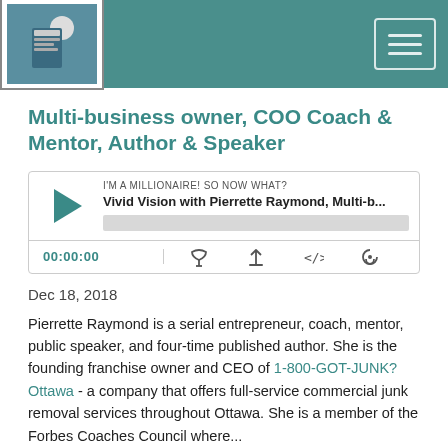[Figure (screenshot): Podcast website header bar with logo image on the left and hamburger menu icon on the right, teal background color]
Multi-business owner, COO Coach & Mentor, Author & Speaker
[Figure (screenshot): Podcast audio player widget showing episode 'Vivid Vision with Pierrette Raymond, Multi-b...' from 'I'M A MILLIONAIRE! SO NOW WHAT?' with play button, progress bar, timestamp 00:00:00, and control icons]
Dec 18, 2018
Pierrette Raymond is a serial entrepreneur, coach, mentor, public speaker, and four-time published author. She is the founding franchise owner and CEO of 1-800-GOT-JUNK? Ottawa - a company that offers full-service commercial junk removal services throughout Ottawa. She is a member of the Forbes Coaches Council where...
Read More